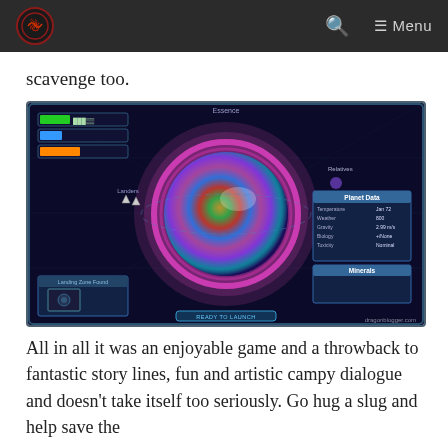dragonblogger.com — Menu
scavenge too.
[Figure (screenshot): Game screenshot showing a planet exploration interface. A colorful, multi-hued planet is displayed at center with a pink/magenta glow around it. Top-left shows resource bars in green, blue, and orange. A label 'Landers' points to two small spacecraft on the left. Right side shows 'Planet Data' panel with stats for Temperature, Weather, Gravity, Biology, Toxicity, and a 'Minerals' panel. Bottom-left shows a 'Landing Zone Found' panel with a preview image. A 'READY TO LAUNCH' button appears at the bottom center. Watermark reads: dragonblogger.com]
All in all it was an enjoyable game and a throwback to fantastic story lines, fun and artistic campy dialogue and doesn't take itself too seriously.  Go hug a slug and help save the